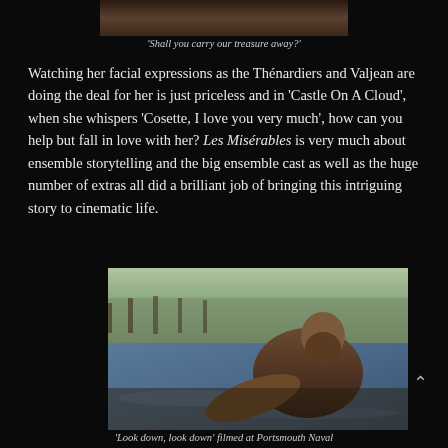[Figure (photo): Partial top image showing figures, cropped at top of page]
'Shall you carry our treasure away?'
Watching her facial expressions as the Thénardiers and Valjean are doing the deal for her is just priceless and in 'Castle On A Cloud', when she whispers 'Cosette, I love you very much', how can you help but fall in love with her? Les Misérables is very much about ensemble storytelling and the big ensemble cast as well as the huge number of extras all did a brilliant job of bringing this intriguing story to cinematic life.
[Figure (photo): 'Look down, look down' scene filmed at Portsmouth Naval, showing a bearded man in chains dragging a heavy load through water with other prisoners behind him]
'Look down, look down' filmed at Portsmouth Naval